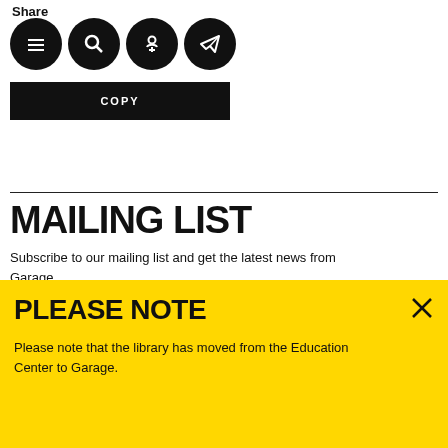Share
[Figure (infographic): Four circular black icon buttons: hamburger menu, search/magnifier, OK (Odnoklassniki) social, and Telegram paper airplane]
[Figure (infographic): Black rectangular COPY button]
MAILING LIST
Subscribe to our mailing list and get the latest news from Garage
E-MAIL
PLEASE NOTE
Please note that the library has moved from the Education Center to Garage.